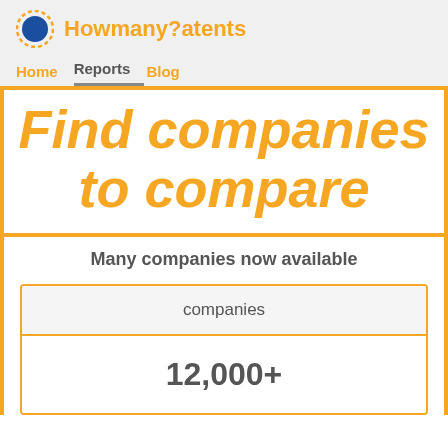HowmanyPatents
Home  Reports  Blog
Find companies to compare
Many companies now available
| companies |
| --- |
| 12,000+ |